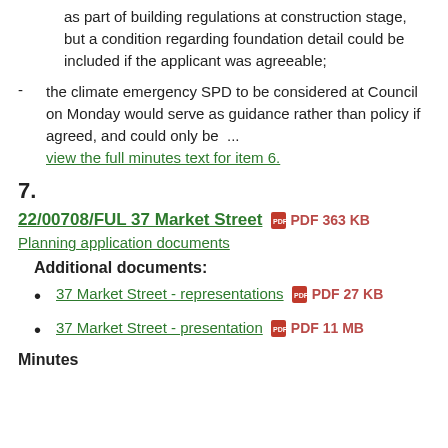as part of building regulations at construction stage, but a condition regarding foundation detail could be included if the applicant was agreeable;
the climate emergency SPD to be considered at Council on Monday would serve as guidance rather than policy if agreed, and could only be  ... view the full minutes text for item 6.
7.
22/00708/FUL 37 Market Street  PDF 363 KB
Planning application documents
Additional documents:
37 Market Street - representations  PDF 27 KB
37 Market Street - presentation  PDF 11 MB
Minutes